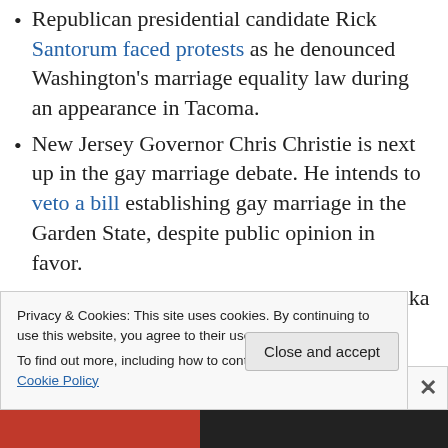Republican presidential candidate Rick Santorum faced protests as he denounced Washington's marriage equality law during an appearance in Tacoma.
New Jersey Governor Chris Christie is next up in the gay marriage debate. He intends to veto a bill establishing gay marriage in the Garden State, despite public opinion in favor.
Abbie Goldberg and Katherine A. Kuvalanka published an article on
Privacy & Cookies: This site uses cookies. By continuing to use this website, you agree to their use.
To find out more, including how to control cookies, see here: Cookie Policy